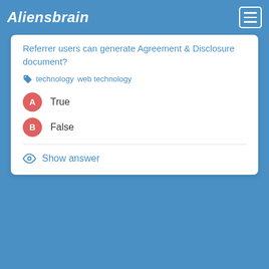Aliensbrain
Referrer users can generate Agreement & Disclosure document?
technology   web technology
A  True
B  False
Show answer